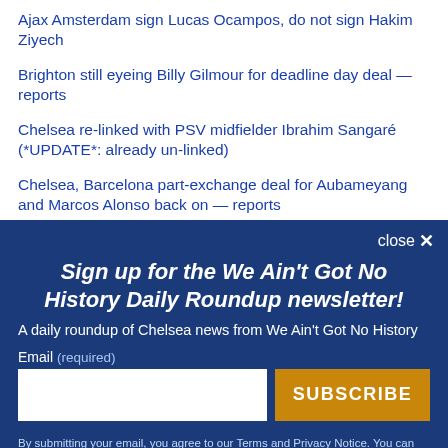Ajax Amsterdam sign Lucas Ocampos, do not sign Hakim Ziyech
Brighton still eyeing Billy Gilmour for deadline day deal — reports
Chelsea re-linked with PSV midfielder Ibrahim Sangaré (*UPDATE*: already un-linked)
Chelsea, Barcelona part-exchange deal for Aubameyang and Marcos Alonso back on — reports
Sign up for the We Ain't Got No History Daily Roundup newsletter!
A daily roundup of Chelsea news from We Ain't Got No History
Email (required)
SUBSCRIBE
By submitting your email, you agree to our Terms and Privacy Notice. You can opt out at any time. This site is protected by reCAPTCHA and the Google Privacy Policy and Terms of Service apply.